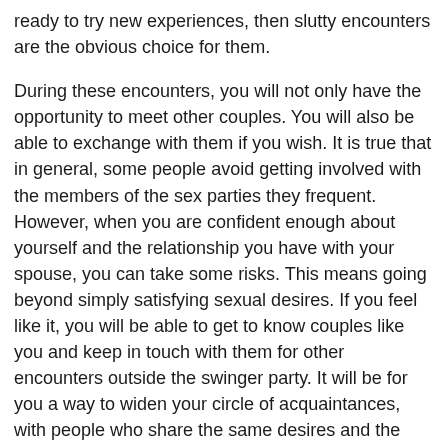ready to try new experiences, then slutty encounters are the obvious choice for them.
During these encounters, you will not only have the opportunity to meet other couples. You will also be able to exchange with them if you wish. It is true that in general, some people avoid getting involved with the members of the sex parties they frequent. However, when you are confident enough about yourself and the relationship you have with your spouse, you can take some risks. This means going beyond simply satisfying sexual desires. If you feel like it, you will be able to get to know couples like you and keep in touch with them for other encounters outside the swinger party. It will be for you a way to widen your circle of acquaintances, with people who share the same desires and the same lifestyle as you.
Thus, with your new couples of friends, you will be able to try new sexual practices such as swinging or trio sex. If you are a fan of sex party in Canandaigua, you can also organize some at home or in more neutral places according to your preferences. The main thing to keep in mind is that you can try all the adult sex...